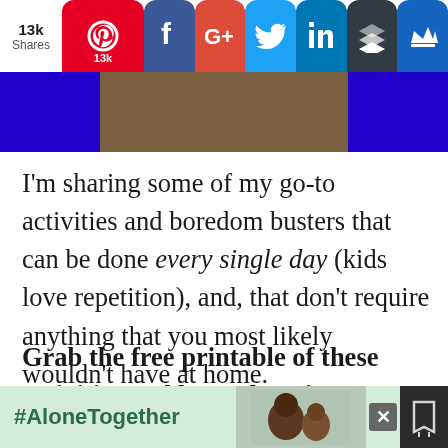[Figure (screenshot): Social share bar with 13k shares count, Pinterest (13k), Facebook, Google+, Twitter, LinkedIn, Buffer, and crown icons on colored rounded buttons]
[Figure (photo): Partial image strip showing a bedroom scene with blue accents on left and right]
I'm sharing some of my go-to activities and boredom busters that can be done every single day (kids love repetition), and, that don't require anything that you most likely wouldn't have at home.
Grab the free printable of these activities and hang them in every room
[Figure (screenshot): #AloneTogether ad banner with green background, image of father and child, close button and icon]